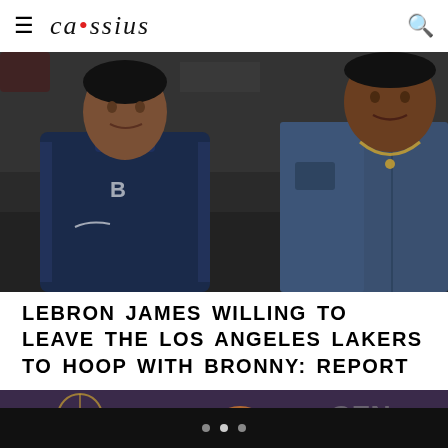Cassius
[Figure (photo): Bronny James in a basketball uniform and LeBron James in a denim jacket standing courtside at an NBA arena]
LEBRON JAMES WILLING TO LEAVE THE LOS ANGELES LAKERS TO HOOP WITH BRONNY: REPORT
[Figure (photo): Partially visible second article image with a dark purple/grey background and a circular logo or emblem visible]